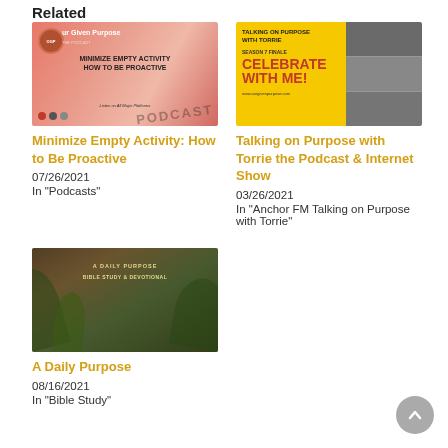Related
[Figure (photo): Podcast thumbnail with pink background showing 'Our Given Purpose' podcast title, 'Minimize Empty Activity - How to Be Proactive' text, phone and podcast text overlay]
Minimize Empty Activity: How to Be Proactive
07/26/2021
In "Podcasts"
[Figure (photo): Yellow thumbnail for 'Talking on Purpose with Torrie' showing 'Celebrate With Me!' text in red and photo strips on the right side]
Talking on Purpose with Torrie the Podcast & Internet Show
03/26/2021
In "Anchor FM Talking on Purpose with Torrie"
[Figure (photo): Dark green/brown thumbnail with tropical plants and Bible study devotional text overlay]
A Daily Purpose
08/16/2021
In "Bible Study"